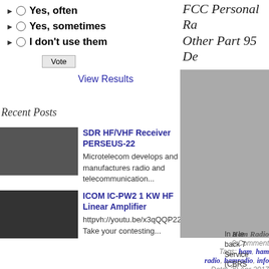Yes, often
Yes, sometimes
I don't use them
Vote
View Results
FCC Personal Radio Other Part 95 Dev
[Figure (photo): Gray rectangle placeholder image]
Recent Posts
[Figure (photo): Thumbnail of SDR HF/VHF Receiver PERSEUS-22 device]
SDR HF/VHF Receiver PERSEUS-22
Microtelecom develops and manufactures radio and telecommunication...
[Figure (photo): Thumbnail of ICOM IC-PW2 amplifier]
ICOM IC-PW2 1 KW HF Linear Amplifier
httpvh://youtu.be/x3qQQP22VVY Take your contesting...
Ham Radio
0 Comment
Tags: ham, ham radio, hamradio, info
Date: 29 Apr 2017
In a len back 7 Service (CBRS